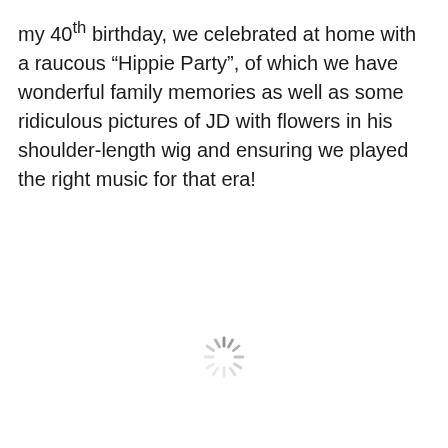my 40th birthday, we celebrated at home with a raucous “Hippie Party”, of which we have wonderful family memories as well as some ridiculous pictures of JD with flowers in his shoulder-length wig and ensuring we played the right music for that era!
[Figure (other): A loading spinner icon (circular dashed spokes arranged in a clock pattern), centered in the lower half of the page.]